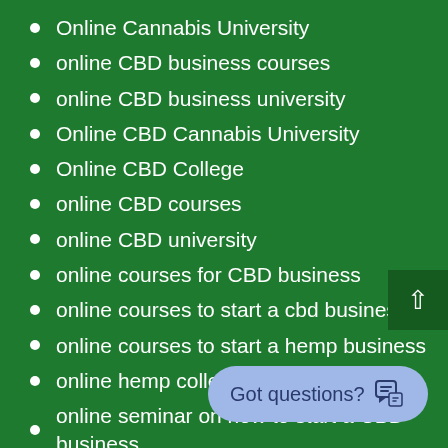Online Cannabis University
online CBD business courses
online CBD business university
Online CBD Cannabis University
Online CBD College
online CBD courses
online CBD university
online courses for CBD business
online courses to start a cbd business
online courses to start a hemp business
online hemp college
online seminar on how to start a CBD business
open a CBD business
owning a CBD business